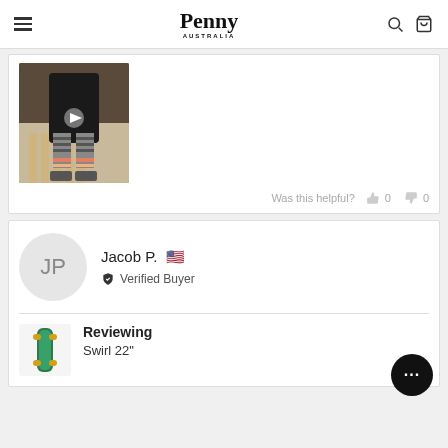Penny Australia
[Figure (photo): Person holding a skateboard, photo from a product review]
Was this helpful? 0 0
Jacob P. 🇺🇸
✓ Verified Buyer
Reviewing
Swirl 22"
[Figure (photo): Swirl 22 inch Penny skateboard product thumbnail]